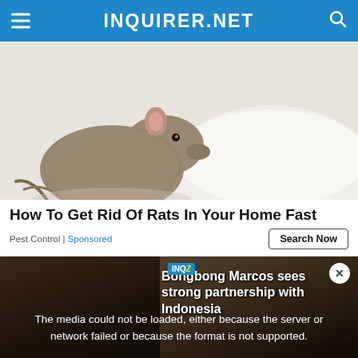INQUIRER.NET
[Figure (photo): A rat drinking from a white bowl/plate, close-up photo on white background]
How To Get Rid Of Rats In Your Home Fast
Pest Control | Sponsored
[Figure (screenshot): Video player showing a news segment about Bongbong Marcos sees strong partnership with Indonesia, with error message: The media could not be loaded, either because the server or network failed or because the format is not supported. Overlay text: BONGBONG MARCOS SEES STRONG PARTNERSHIP WITH INDONESIA]
Bongbong Marcos sees strong partnership with Indonesia